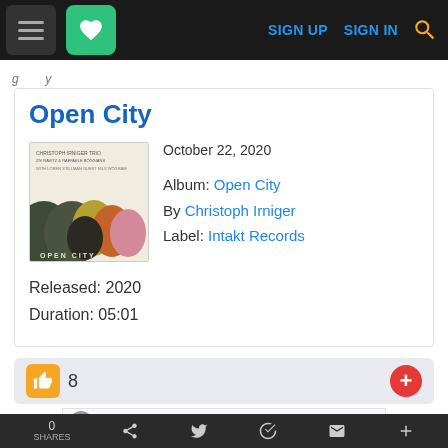SIGN UP  SIGN IN
Open City
October 22, 2020
Album: Open City
By Christoph Irniger
Label: Intakt Records
Released: 2020
Duration: 05:01
8
Shop Back To School Deals
0 SHARES